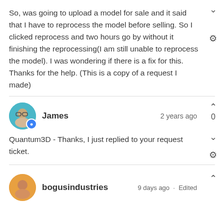So, was going to upload a model for sale and it said that I have to reprocess the model before selling. So I clicked reprocess and two hours go by without it finishing the reprocessing(I am still unable to reprocess the model). I was wondering if there is a fix for this. Thanks for the help. (This is a copy of a request I made)
James · 2 years ago
Quantum3D - Thanks, I just replied to your request ticket.
bogusindustries · 9 days ago · Edited